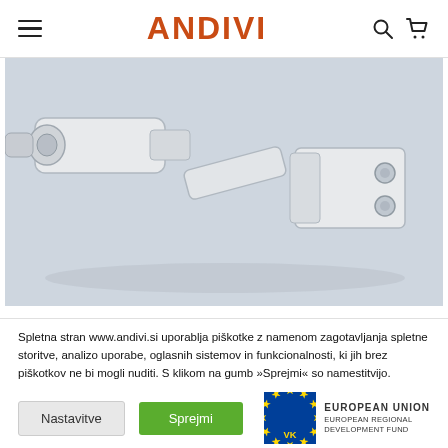ANDIVI
[Figure (photo): Close-up photograph of white mechanical/pneumatic hardware components on a light gray background, showing cylindrical connectors and flat bracket pieces]
Spletna stran www.andivi.si uporablja piškotke z namenom zagotavljanja spletne storitve, analizo uporabe, oglasnih sistemov in funkcionalnosti, ki jih brez piškotkov ne bi mogli nuditi. S klikom na gumb »Sprejmi« so namestitvijo.
[Figure (logo): European Union European Regional Development Fund logo with EU flag stars emblem and VR/VA stylized mark]